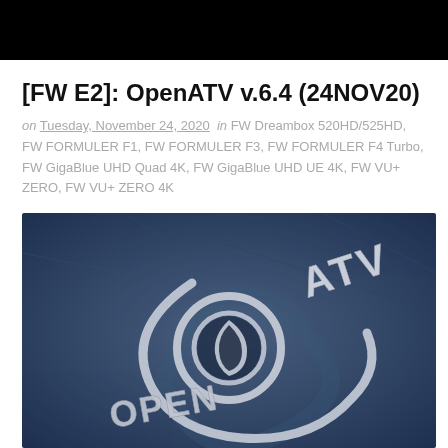[Figure (photo): Black header banner bar at top of webpage]
[FW E2]: OpenATV v.6.4 (24NOV20)
on Tuesday, November 24, 2020 in FW Dreambox 520HD/525HD, FW FORMULER F1, FW FORMULER F3, FW FORMULER F4 Turbo, FW GigaBlue UHD Quad 4K, FW GigaBlue UHD UE 4K, FW VU+ ZERO, FW VU+ ZERO 4K
[Figure (logo): OpenATV logo on blue textured stone background — silver/white 3D lettering spelling OPEN ATV with circular eye-shaped logo icon in center]